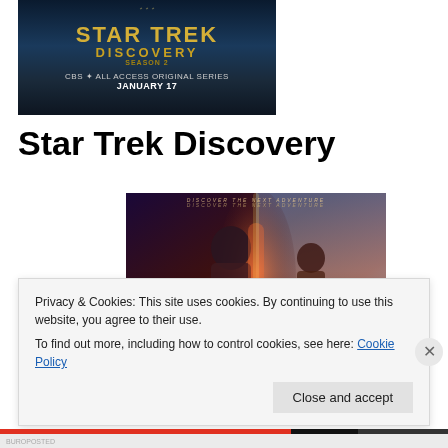[Figure (photo): Star Trek Discovery Season 2 promotional banner – CBS All Access Original Series, January 17]
Star Trek Discovery
[Figure (photo): Star Trek Discovery cast promotional poster with lead actress in foreground, other cast members, purple and red cosmic background, text 'DISCOVER THE NEXT ADVENTURE']
Privacy & Cookies: This site uses cookies. By continuing to use this website, you agree to their use.
To find out more, including how to control cookies, see here: Cookie Policy
Close and accept